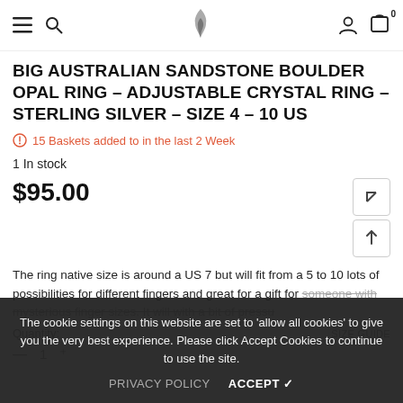Navigation bar with menu, search, logo, account, and cart icons
BIG AUSTRALIAN SANDSTONE BOULDER OPAL RING – ADJUSTABLE CRYSTAL RING – STERLING SILVER – SIZE 4 – 10 US
15 Baskets added to in the last 2 Week
1 In stock
$95.00
The ring native size is around a US 7 but will fit from a 5 to 10 lots of possibilities for different fingers and great for a gift for someone with mysterious finger sizes. It will with a bit of pressure d...
Quantity:   SIZE GUIDE
— 1 +
The cookie settings on this website are set to 'allow all cookies' to give you the very best experience. Please click Accept Cookies to continue to use the site.
PRIVACY POLICY   ACCEPT ✓